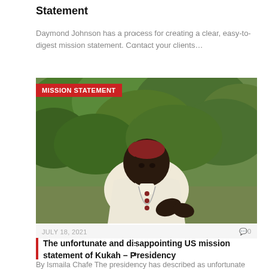Statement
Daymond Johnson has a process for creating a clear, easy-to-digest mission statement. Contact your clients…
[Figure (photo): A clergyman in white vestments with a red zucchetto speaking or gesturing, outdoors with green foliage background. Red badge overlay reads 'MISSION STATEMENT'.]
JULY 18, 2021   0
The unfortunate and disappointing US mission statement of Kukah – Presidency
By Ismaila Chafe The presidency has described as unfortunate and